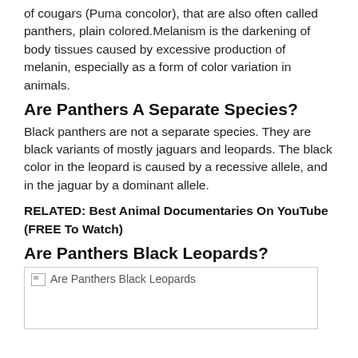of cougars (Puma concolor), that are also often called panthers, plain colored.Melanism is the darkening of body tissues caused by excessive production of melanin, especially as a form of color variation in animals.
Are Panthers A Separate Species?
Black panthers are not a separate species. They are black variants of mostly jaguars and leopards. The black color in the leopard is caused by a recessive allele, and in the jaguar by a dominant allele.
RELATED: Best Animal Documentaries On YouTube (FREE To Watch)
Are Panthers Black Leopards?
[Figure (photo): Image placeholder labeled 'Are Panthers Black Leopards']